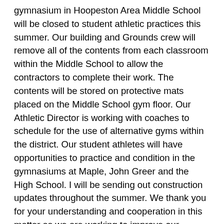gymnasium in Hoopeston Area Middle School will be closed to student athletic practices this summer. Our building and Grounds crew will remove all of the contents from each classroom within the Middle School to allow the contractors to complete their work. The contents will be stored on protective mats placed on the Middle School gym floor. Our Athletic Director is working with coaches to schedule for the use of alternative gyms within the district. Our student athletes will have opportunities to practice and condition in the gymnasiums at Maple, John Greer and the High School. I will be sending out construction updates throughout the summer. We thank you for your understanding and cooperation in this matter as we are working to improve our facilities to better serve our students, staff, and Hoopeston Area families and guests.